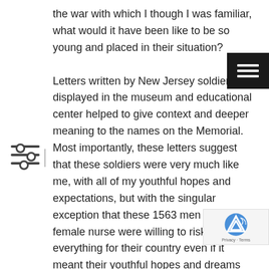the war with which I though I was familiar, what would it have been like to be so young and placed in their situation?

Letters written by New Jersey soldiers displayed in the museum and educational center helped to give context and deeper meaning to the names on the Memorial. Most importantly, these letters suggest that these soldiers were very much like me, with all of my youthful hopes and expectations, but with the singular exception that these 1563 men and one female nurse were willing to risk everything for their country even if it meant their youthful hopes and dreams would never be realized. In his 1968 letter home, Lance Corporal John W. Ciallella, tells his Sea Girt family how he thinks of them, his friends and “how it used to be.” He also tells his family things will never be the same and how different it is to live “with death so near.” I came to realize that, unlike Berger from “Hair,” whose death was an accidental sacri... Lance Corporal Ciallella marched headlong through his t... and into the war accepting its many risks. He tells his family in